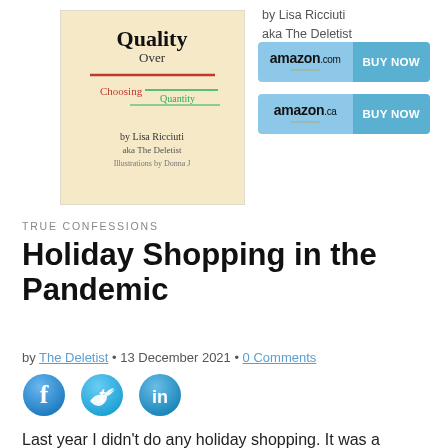[Figure (illustration): Book cover for 'Quality Over Quantity' by Lisa Ricciuti aka The Deletist, cream/beige background with red and green text elements]
by Lisa Ricciuti
aka The Deletist
[Figure (infographic): Amazon.com BUY NOW button in light blue]
[Figure (infographic): Amazon.ca BUY NOW button in light blue]
TRUE CONFESSIONS
Holiday Shopping in the Pandemic
by The Deletist • 13 December 2021 • 0 Comments
[Figure (illustration): Facebook, Twitter, and LinkedIn social sharing icons]
Last year I didn't do any holiday shopping. It was a strange year, full of lockdowns, isolation, and a move right in December. This year, so far not much better in terms of the pandemic. But the longer it goes, the more we find our own ways to create a new normal. Or resume